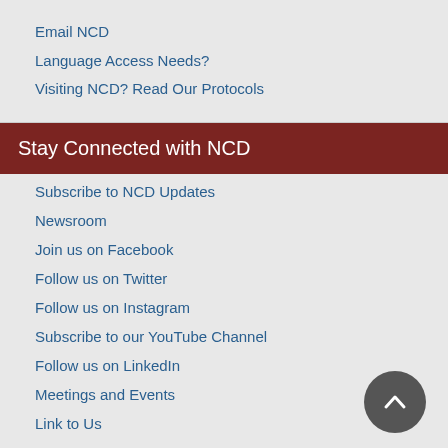Email NCD
Language Access Needs?
Visiting NCD? Read Our Protocols
Stay Connected with NCD
Subscribe to NCD Updates
Newsroom
Join us on Facebook
Follow us on Twitter
Follow us on Instagram
Subscribe to our YouTube Channel
Follow us on LinkedIn
Meetings and Events
Link to Us